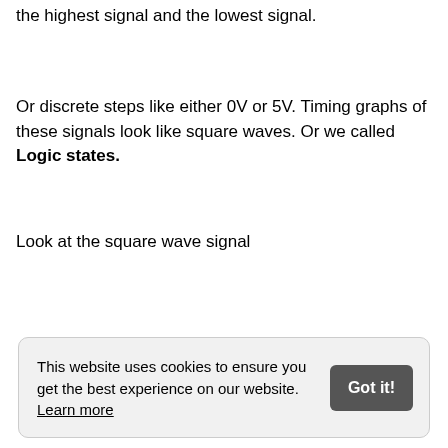the highest signal and the lowest signal.
Or discrete steps like either 0V or 5V. Timing graphs of these signals look like square waves. Or we called Logic states.
Look at the square wave signal
This website uses cookies to ensure you get the best experience on our website. Learn more